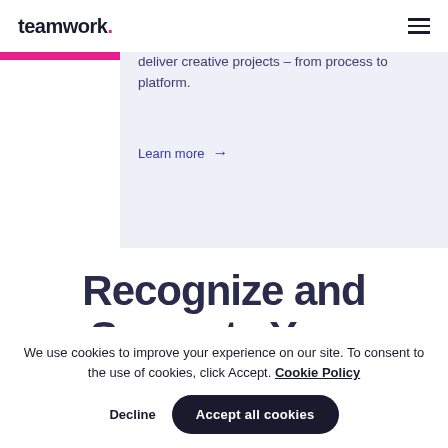teamwork. [hamburger menu]
deliver creative projects – from process to platform.
Learn more →
Recognize and Separate Your
We use cookies to improve your experience on our site. To consent to the use of cookies, click Accept. Cookie Policy
Decline | Accept all cookies